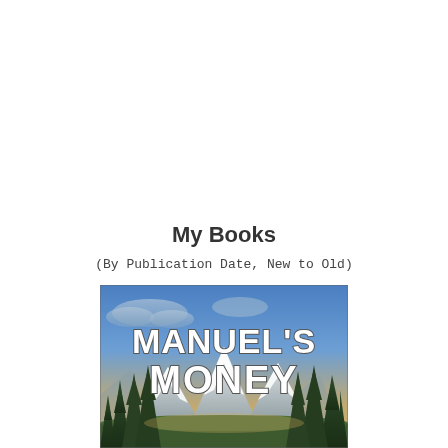My Books
(By Publication Date, New to Old)
[Figure (illustration): Book cover for 'Manuel's Money' — bold white 3D text reading 'MANUEL'S MONEY' over a painted mountain landscape at sunset with pine trees on either side and snow-capped peaks in the background under a blue and golden sky.]